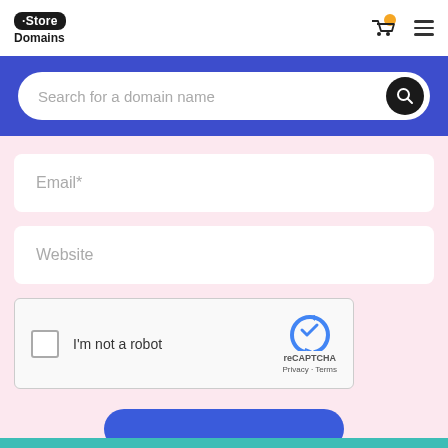[Figure (logo): .Store Domains logo with cart icon and hamburger menu]
Search for a domain name
Email*
Website
[Figure (other): reCAPTCHA widget with checkbox labeled I'm not a robot]